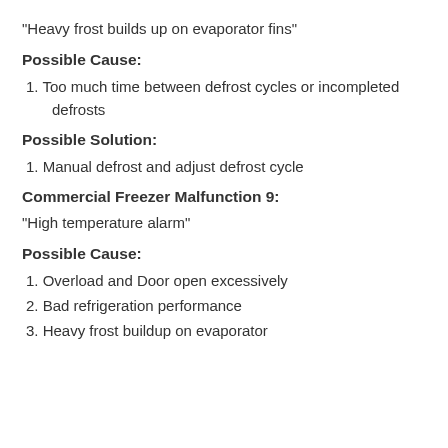"Heavy frost builds up on evaporator fins"
Possible Cause:
1. Too much time between defrost cycles or incompleted defrosts
Possible Solution:
1. Manual defrost and adjust defrost cycle
Commercial Freezer Malfunction 9:
"High temperature alarm"
Possible Cause:
1. Overload and Door open excessively
2. Bad refrigeration performance
3. Heavy frost buildup on evaporator